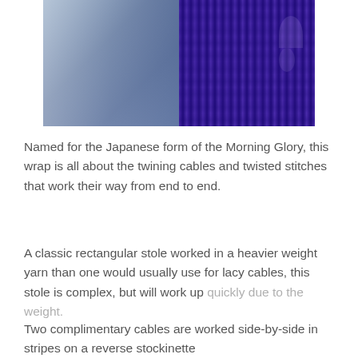[Figure (photo): Two-panel photo: left panel shows a person wearing blue denim jeans near a brick wall, right panel shows a close-up of a purple knitted lace fabric with cable and twisted stitch pattern.]
Named for the Japanese form of the Morning Glory, this wrap is all about the twining cables and twisted stitches that work their way from end to end.
A classic rectangular stole worked in a heavier weight yarn than one would usually use for lacy cables, this stole is complex, but will work up quickly due to the weight.
Two complimentary cables are worked side-by-side in stripes on a reverse stockinette